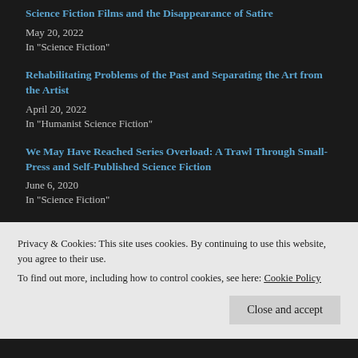Science Fiction Films and the Disappearance of Satire
May 20, 2022
In "Science Fiction"
Rehabilitating Problems of the Past and Separating the Art from the Artist
April 20, 2022
In "Humanist Science Fiction"
We May Have Reached Series Overload: A Trawl Through Small-Press and Self-Published Science Fiction
June 6, 2020
In "Science Fiction"
Privacy & Cookies: This site uses cookies. By continuing to use this website, you agree to their use.
To find out more, including how to control cookies, see here: Cookie Policy